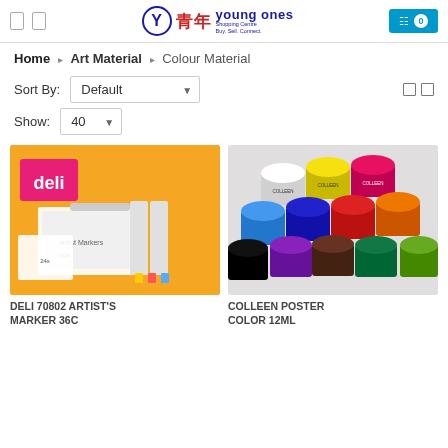Young Ones Shopping Centre
Home > Art Material > Colour Material
Sort By: Default | Show: 40
[Figure (photo): Deli 70802 Artist Marker set product photo on yellow background]
DELI 70802 ARTIST'S MARKER 36C
[Figure (photo): Colleen Poster Color 12ml jars product photo]
COLLEEN POSTER COLOR 12ML